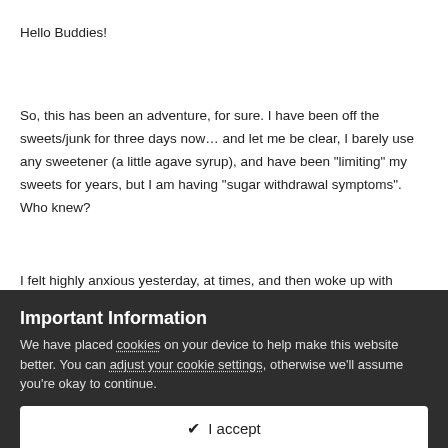Hello Buddies!
So, this has been an adventure, for sure. I have been off the sweets/junk for three days now… and let me be clear, I barely use any sweetener (a little agave syrup), and have been "limiting" my sweets for years, but I am having "sugar withdrawal symptoms". Who knew?
I felt highly anxious yesterday, at times, and then woke up with restless legs syndrome and anxiety symptoms… but with no disturbing event to cause the anxiety! I looked it up on the
Important Information
We have placed cookies on your device to help make this website better. You can adjust your cookie settings, otherwise we'll assume you're okay to continue.
✔  I accept